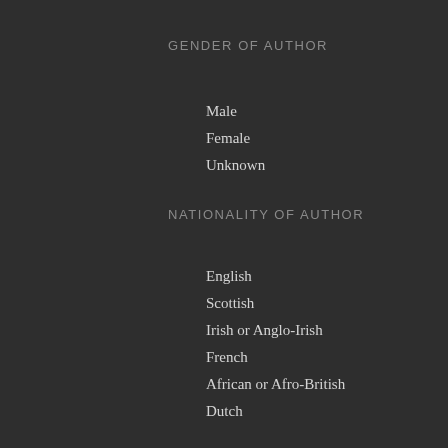GENDER OF AUTHOR
Male
Female
Unknown
NATIONALITY OF AUTHOR
English
Scottish
Irish or Anglo-Irish
French
African or Afro-British
Dutch
German
Swiss
Roman
American
POLITICS OF AUTHOR
Whig